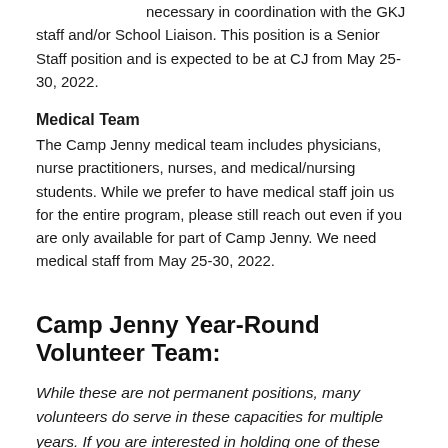necessary in coordination with the GKJ staff and/or School Liaison. This position is a Senior Staff position and is expected to be at CJ from May 25-30, 2022.
Medical Team
The Camp Jenny medical team includes physicians, nurse practitioners, nurses, and medical/nursing students. While we prefer to have medical staff join us for the entire program, please still reach out even if you are only available for part of Camp Jenny. We need medical staff from May 25-30, 2022.
Camp Jenny Year-Round Volunteer Team:
While these are not permanent positions, many volunteers do serve in these capacities for multiple years. If you are interested in holding one of these positions in the future, please let the Regional Advisors know of your interest and